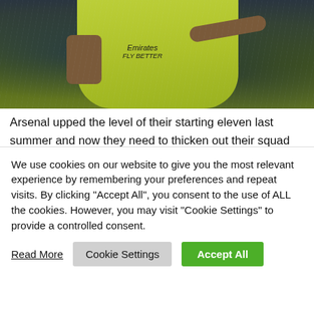[Figure (photo): Arsenal footballer wearing a bright yellow-green Emirates Fly Better kit, pointing with one arm outstretched, photographed in rainy conditions with blurred stadium background.]
Arsenal upped the level of their starting eleven last summer and now they need to thicken out their squad with more players that you would trust for an extended stretch on the teamsheet. As supporters, we need to shed the idea of that...
We use cookies on our website to give you the most relevant experience by remembering your preferences and repeat visits. By clicking "Accept All", you consent to the use of ALL the cookies. However, you may visit "Cookie Settings" to provide a controlled consent.
Read More
Cookie Settings
Accept All